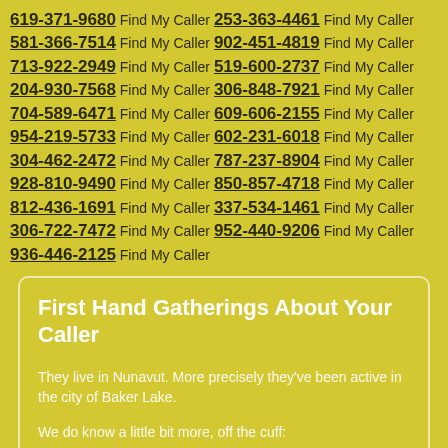619-371-9680 Find My Caller 253-363-4461 Find My Caller 581-366-7514 Find My Caller 902-451-4819 Find My Caller 713-922-2949 Find My Caller 519-600-2737 Find My Caller 204-930-7568 Find My Caller 306-848-7921 Find My Caller 704-589-6471 Find My Caller 609-606-2155 Find My Caller 954-219-5733 Find My Caller 602-231-6018 Find My Caller 304-462-2472 Find My Caller 787-237-8904 Find My Caller 928-810-9490 Find My Caller 850-857-4718 Find My Caller 812-436-1691 Find My Caller 337-534-1461 Find My Caller 306-722-7472 Find My Caller 952-440-9206 Find My Caller 936-446-2125 Find My Caller
First Hand Gatherings About Your Caller
They live in Nunavut. More precisely they've been active in the city of Baker Lake.
We do know a little bit more, off the cuff: